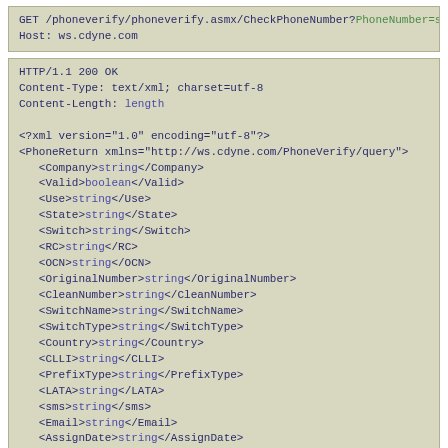GET /phoneverify/phoneverify.asmx/CheckPhoneNumber?PhoneNumber=string
Host: ws.cdyne.com
HTTP/1.1 200 OK
Content-Type: text/xml; charset=utf-8
Content-Length: length

<?xml version="1.0" encoding="utf-8"?>
<PhoneReturn xmlns="http://ws.cdyne.com/PhoneVerify/query">
  <Company>string</Company>
  <Valid>boolean</Valid>
  <Use>string</Use>
  <State>string</State>
  <Switch>string</Switch>
  <RC>string</RC>
  <OCN>string</OCN>
  <OriginalNumber>string</OriginalNumber>
  <CleanNumber>string</CleanNumber>
  <SwitchName>string</SwitchName>
  <SwitchType>string</SwitchType>
  <Country>string</Country>
  <CLLI>string</CLLI>
  <PrefixType>string</PrefixType>
  <LATA>string</LATA>
  <sms>string</sms>
  <Email>string</Email>
  <AssignDate>string</AssignDate>
  <TelecomCity>string</TelecomCity>
  <TelecomCounty>string</TelecomCounty>
  <TelecomState>string</TelecomState>
  <TelecomZip>string</TelecomZip>
  <TimeZone>string</TimeZone>
  <Lat>string</Lat>
  <Long>string</Long>
  <Wireless>boolean</Wireless>
  <LRN>string</LRN>
</PhoneReturn>
HTTP POST